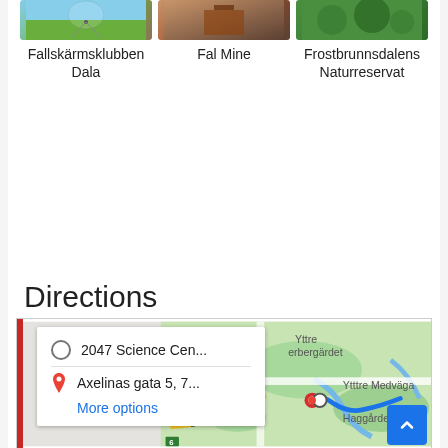[Figure (photo): Thumbnail photo for Fallskärmsklubben Dala]
[Figure (photo): Thumbnail photo for Fal Mine]
[Figure (photo): Thumbnail photo for Frostbrunnsdalens Naturreservat]
Fallskärmsklubben Dala
Fal Mine
Frostbrunnsdalens Naturreservat
Directions
[Figure (map): Google Maps screenshot showing directions from 2047 Science Cen... to Axelinas gata 5, 7... with a route displayed. Map shows Yttre, erbergärdet, amsberg, Morbygge, Ytttre Medväga, Haggården, linas gata 5 labels. Includes a directions popup card with 'More options' link. Red vertical bar on left edge.]